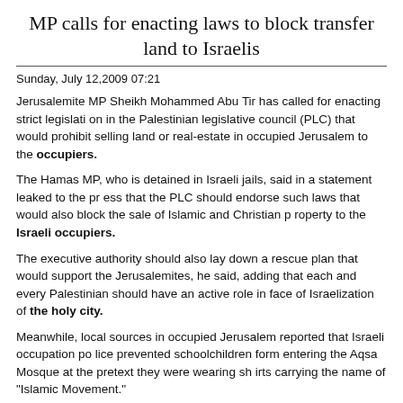MP calls for enacting laws to block transfer land to Israelis
Sunday, July 12,2009 07:21
Jerusalemite MP Sheikh Mohammed Abu Tir has called for enacting strict legislation in the Palestinian legislative council (PLC) that would prohibit selling land or real-estate in occupied Jerusalem to the occupiers.
The Hamas MP, who is detained in Israeli jails, said in a statement leaked to the press that the PLC should endorse such laws that would also block the sale of Islamic and Christian property to the Israeli occupiers.
The executive authority should also lay down a rescue plan that would support the Jerusalemites, he said, adding that each and every Palestinian should have an active role in face of Israelization of the holy city.
Meanwhile, local sources in occupied Jerusalem reported that Israeli occupation police prevented schoolchildren form entering the Aqsa Mosque at the pretext they were wearing shirts carrying the name of "Islamic Movement."
The policemen forced the children to take off their shirts before allowing them to enter.
In another context related to the Israeli occupation authority"s repressive measures...